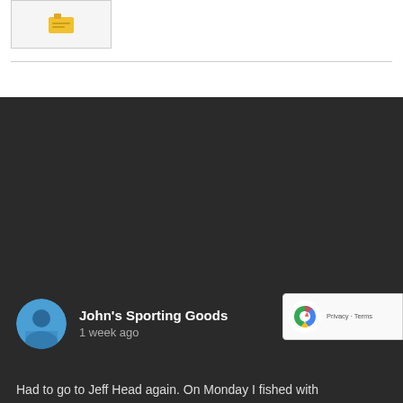[Figure (thumbnail): Small thumbnail image box with a yellow icon or logo]
John's Sporting Goods
1 week ago
Had to go to Jeff Head again. On Monday I fished with